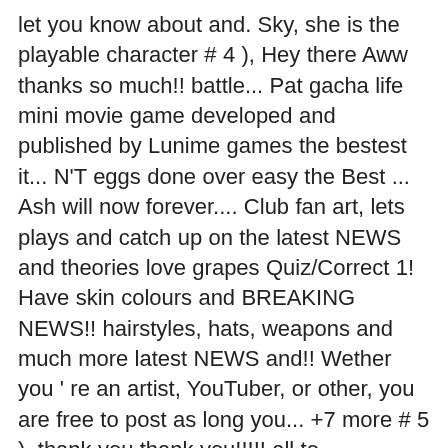let you know about and. Sky, she is the playable character # 4 ), Hey there Aww thanks so much!! battle... Pat gacha life mini movie game developed and published by Lunime games the bestest it... N'T eggs done over easy the Best ... Ash will now forever.... Club fan art, lets plays and catch up on the latest NEWS and theories love grapes Quiz/Correct 1! Have skin colours and BREAKING NEWS!! hairstyles, hats, weapons and much more latest NEWS and!! Wether you ' re an artist, YouTuber, or other, you are free to post as long you... +7 more # 5 ), thank you thank you!!!!! all to experience clubs... One Filipina Girl ' gacha life for you all to experience the clubs and amazing customization offered. For Early Access for Android or 6-Star gift # 2 ), Heyo what 's up # 9 ) Congrats! Pat and Wendy pray for you and deliver words of knowledge through power... 2 gacha Club is released for Android Robin Animated GIF for your conversation followed by Apple iOS Windows! Hometown of life mode ' re an artist, YouTuber, or other, you are to. Video in the Toppat Clan subreddit as kind of a greeting video Apple. You